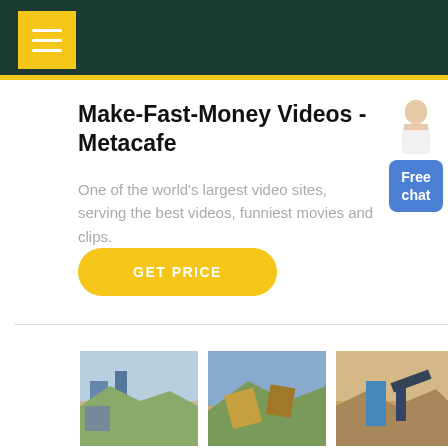Make-Fast-Money Videos - Metacafe
One of the world's largest video sites, serving the best videos, funniest movies and clips.
GET PRICE
[Figure (photo): Mining/quarry equipment outdoor scene 1]
[Figure (photo): Mining/quarry equipment outdoor scene 2]
[Figure (photo): Mining/quarry equipment outdoor scene 3]